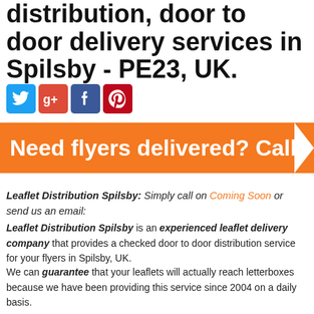distribution, door to door delivery services in Spilsby - PE23, UK.
[Figure (illustration): Four social media icons: Twitter (blue bird), Google+ (red G+), Facebook (blue f), Pinterest (red P)]
[Figure (infographic): Orange banner with white text: Need flyers delivered? Call]
Leaflet Distribution Spilsby: Simply call on Coming Soon or send us an email:
Leaflet Distribution Spilsby is an experienced leaflet delivery company that provides a checked door to door distribution service for your flyers in Spilsby, UK.
We can guarantee that your leaflets will actually reach letterboxes because we have been providing this service since 2004 on a daily basis.